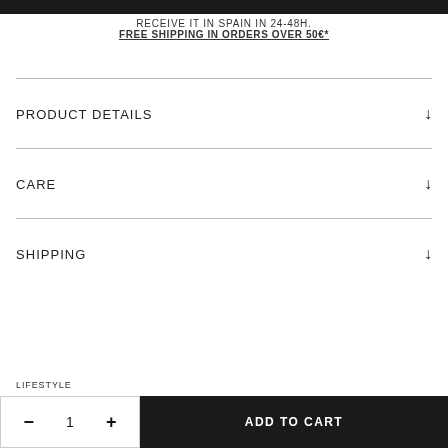RECEIVE IT IN SPAIN IN 24-48H.
FREE SHIPPING IN ORDERS OVER 50€*
PRODUCT DETAILS
CARE
SHIPPING
LIFESTYLE
- 1 + ADD TO CART